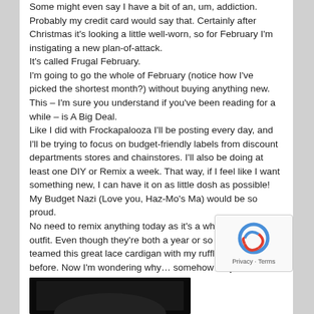Some might even say I have a bit of an, um, addiction. Probably my credit card would say that. Certainly after Christmas it's looking a little well-worn, so for February I'm instigating a new plan-of-attack.
It's called Frugal February.
I'm going to go the whole of February (notice how I've picked the shortest month?) without buying anything new.
This – I'm sure you understand if you've been reading for a while – is A Big Deal.
Like I did with Frockapalooza I'll be posting every day, and I'll be trying to focus on budget-friendly labels from discount departments stores and chainstores. I'll also be doing at least one DIY or Remix a week. That way, if I feel like I want something new, I can have it on as little dosh as possible! My Budget Nazi (Love you, Haz-Mo's Ma) would be so proud.
No need to remix anything today as it's a whole new virgin outfit. Even though they're both a year or so old I've never teamed this great lace cardigan with my ruffly pencil skirt before. Now I'm wondering why… somehow they seem to be made for one another!
[Figure (photo): Bottom portion of a photo showing a dark image, partially visible at the bottom of the page.]